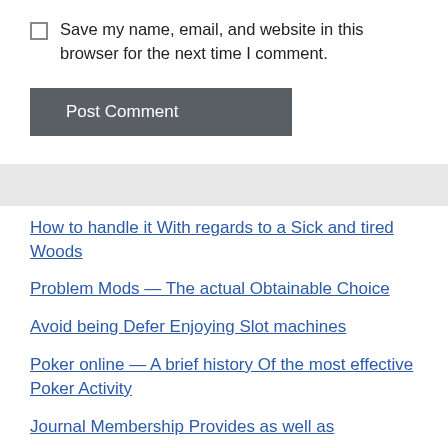Save my name, email, and website in this browser for the next time I comment.
Post Comment
How to handle it With regards to a Sick and tired Woods
Problem Mods — The actual Obtainable Choice
Avoid being Defer Enjoying Slot machines
Poker online — A brief history Of the most effective Poker Activity
Journal Membership Provides as well as